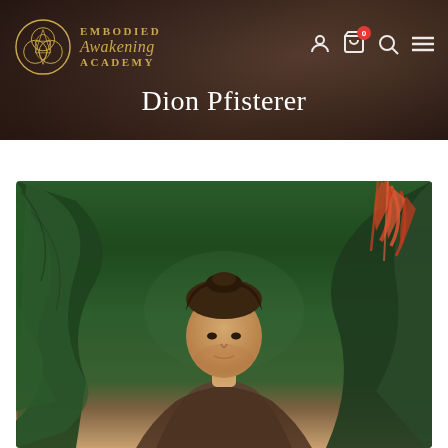[Figure (screenshot): Website header with dark blurred background showing hands, Embodied Awakening Academy logo on the left (gold circular emblem with text), and navigation icons (user, cart with 0 badge, search, menu) on the right]
Dion Pfisterer
[Figure (photo): Portrait photo of a man (Dion Pfisterer) with curly hair pulled back, set against a lush green tropical foliage background with red/orange plants visible on the right side]